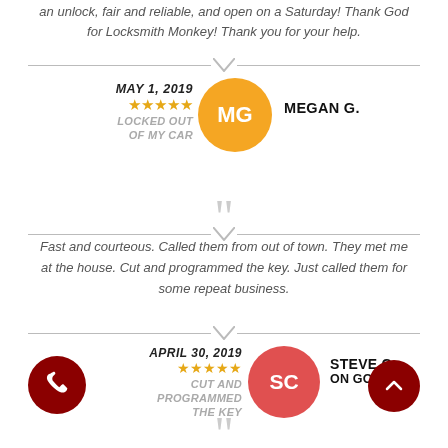an unlock, fair and reliable, and open on a Saturday! Thank God for Locksmith Monkey! Thank you for your help.
[Figure (infographic): Review card for Megan G., May 1, 2019, 5 stars, LOCKED OUT OF MY CAR, with orange avatar MG]
Fast and courteous. Called them from out of town. They met me at the house. Cut and programmed the key. Just called them for some repeat business.
[Figure (infographic): Review card for Steve C., April 30, 2019, 5 stars, CUT AND PROGRAMMED THE KEY, ON GOOGLE, with red avatar SC]